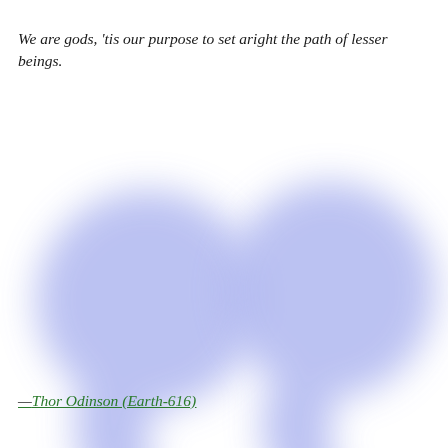[Figure (illustration): Large decorative quotation mark (closing double quotation marks) in soft periwinkle/lavender blue color, blurred and spanning most of the page background]
We are gods, ‘tis our purpose to set aright the path of lesser beings.
—Thor Odinson (Earth-616)